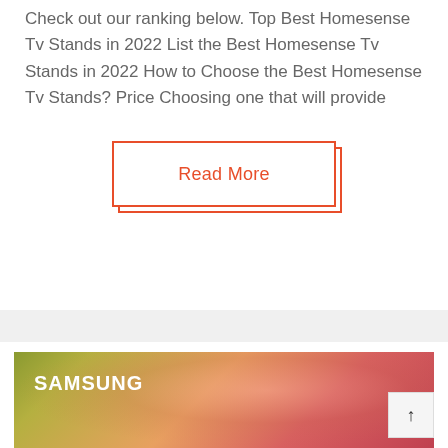Check out our ranking below. Top Best Homesense Tv Stands in 2022 List the Best Homesense Tv Stands in 2022 How to Choose the Best Homesense Tv Stands? Price Choosing one that will provide
Read More
[Figure (photo): Samsung TV display showing an abstract colorful background with warm orange, red, and green tones. The Samsung logo in white bold text is visible in the upper left corner of the TV screen.]